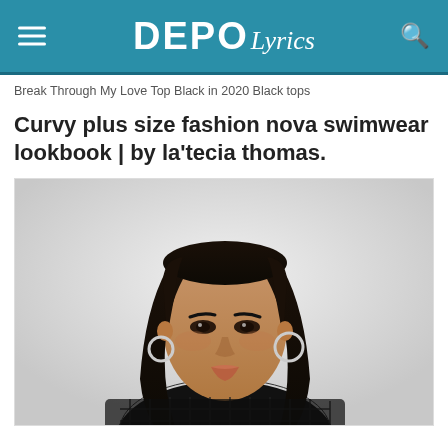DEPO Lyrics
Break Through My Love Top Black in 2020 Black tops
Curvy plus size fashion nova swimwear lookbook | by la'tecia thomas.
[Figure (photo): A curvy plus-size woman with long straight dark hair, wearing silver hoop earrings and a black fishnet/mesh top, posed against a light background, looking directly at the camera with makeup on.]